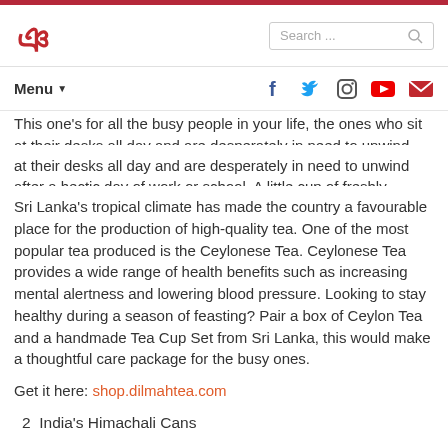[Figure (logo): Website logo red stylized letter g with curl]
Menu ▼  [social icons: Facebook, Twitter, Instagram, YouTube, Email]
This one's for all the busy people in your life, the ones who sit at their desks all day and are desperately in need to unwind after a hectic day of work or school. A little cup of freshly-brewed hot tea would be the perfect pick-me-up!
Sri Lanka's tropical climate has made the country a favourable place for the production of high-quality tea. One of the most popular tea produced is the Ceylonese Tea. Ceylonese Tea provides a wide range of health benefits such as increasing mental alertness and lowering blood pressure. Looking to stay healthy during a season of feasting? Pair a box of Ceylon Tea and a handmade Tea Cup Set from Sri Lanka, this would make a thoughtful care package for the busy ones.
Get it here: shop.dilmahtea.com
2  India's Himachali Cans